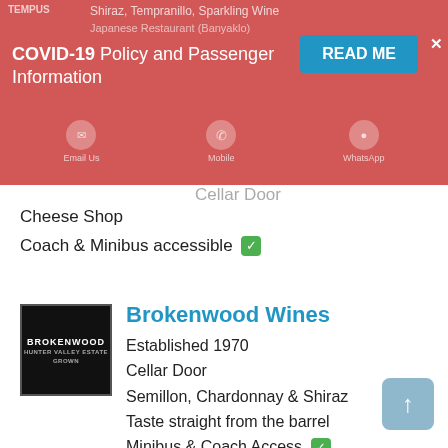COVID-19 Policy and Passenger Information
Cellar Door
Cheese Shop
Coach & Minibus accessible ✅
Brokenwood Wines
Established 1970
Cellar Door
Semillon, Chardonnay & Shiraz
Taste straight from the barrel
Minibus & Coach Access ✅
Lakes Folly
2 Fine Wines
Red Cabernet blend & White Chardonnay